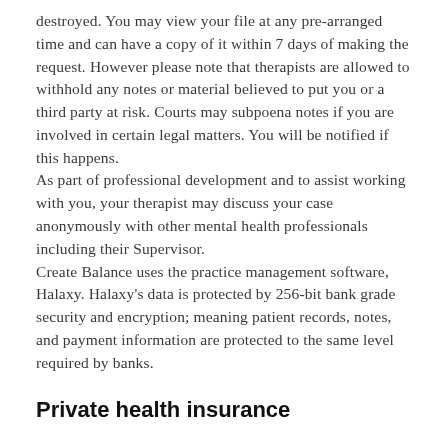destroyed. You may view your file at any pre-arranged time and can have a copy of it within 7 days of making the request. However please note that therapists are allowed to withhold any notes or material believed to put you or a third party at risk. Courts may subpoena notes if you are involved in certain legal matters. You will be notified if this happens.
As part of professional development and to assist working with you, your therapist may discuss your case anonymously with other mental health professionals including their Supervisor.
Create Balance uses the practice management software, Halaxy. Halaxy's data is protected by 256-bit bank grade security and encryption; meaning patient records, notes, and payment information are protected to the same level required by banks.
Private health insurance